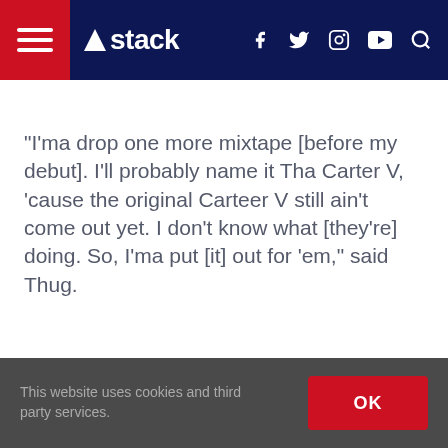stack
“I’ma drop one more mixtape [before my debut]. I’ll probably name it Tha Carter V, ‘cause the original Carteer V still ain’t come out yet. I don’t know what [they’re] doing. So, I’ma put [it] out for ’em,” said Thug.
This website uses cookies and third party services.